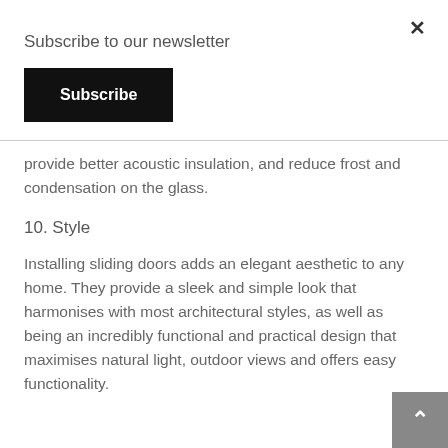Subscribe to our newsletter
Subscribe
provide better acoustic insulation, and reduce frost and condensation on the glass.
10. Style
Installing sliding doors adds an elegant aesthetic to any home. They provide a sleek and simple look that harmonises with most architectural styles, as well as being an incredibly functional and practical design that maximises natural light, outdoor views and offers easy functionality.